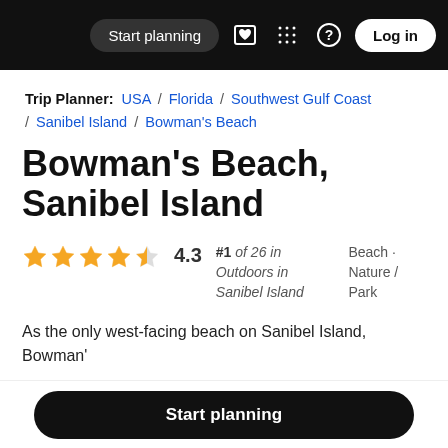Start planning | Log in
Trip Planner: USA / Florida / Southwest Gulf Coast / Sanibel Island / Bowman's Beach
Bowman's Beach, Sanibel Island
4.3 stars — #1 of 26 in Outdoors in Sanibel Island — Beach · Nature / Park
As the only west-facing beach on Sanibel Island, Bowman'
Start planning